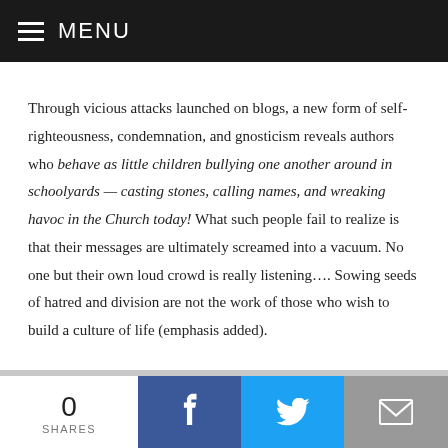MENU
Through vicious attacks launched on blogs, a new form of self-righteousness, condemnation, and gnosticism reveals authors who behave as little children bullying one another around in schoolyards — casting stones, calling names, and wreaking havoc in the Church today! What such people fail to realize is that their messages are ultimately screamed into a vacuum. No one but their own loud crowd is really listening…. Sowing seeds of hatred and division are not the work of those who wish to build a culture of life (emphasis added).
0 SHARES